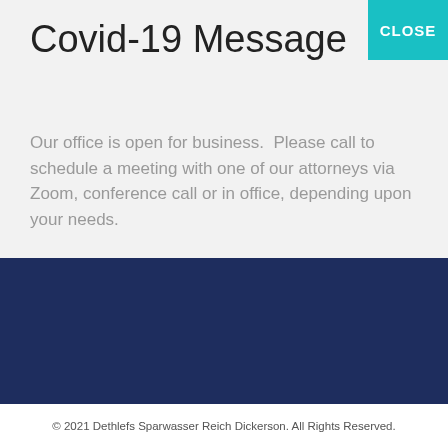Covid-19 Message
Our office is open for business.  Please call to schedule a meeting with one of our attorneys via Zoom, conference call or in office, depending upon your needs.
EXPLORE
FOLLOW US
Facebook
© 2021 Dethlefs Sparwasser Reich Dickerson. All Rights Reserved.